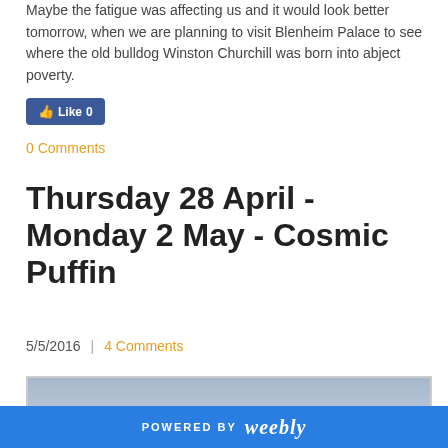Maybe the fatigue was affecting us and it would look better tomorrow, when we are planning to visit Blenheim Palace to see where the old bulldog Winston Churchill was born into abject poverty.
[Figure (other): Facebook Like button with count 0]
0 Comments
Thursday 28 April - Monday 2 May - Cosmic Puffin
5/5/2016  |  4 Comments
[Figure (photo): Photo showing a rainbow over a coastal or scenic landscape with grey overcast sky]
POWERED BY weebly